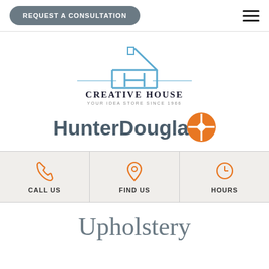REQUEST A CONSULTATION
[Figure (logo): Creative House logo — house icon in blue with letter H, text CREATIVE HOUSE YOUR IDEA STORE SINCE 1966]
[Figure (logo): HunterDouglas logo with orange compass/pinwheel icon]
CALL US | FIND US | HOURS
Upholstery